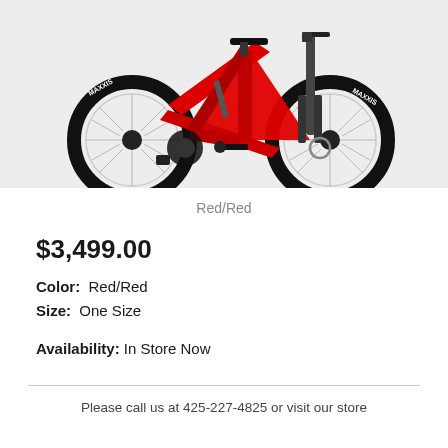[Figure (photo): Red full-suspension mountain bike with Maxxis tires on a light gray background]
Red/Red
$3,499.00
Color: Red/Red
Size: One Size
Availability: In Store Now
Please call us at 425-227-4825 or visit our store